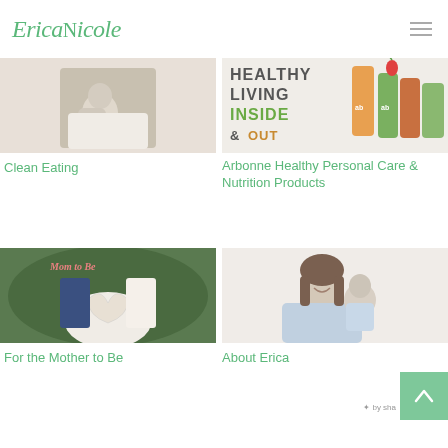Erica Nicole
[Figure (photo): Woman holding a newborn baby, Clean Eating section image]
Clean Eating
[Figure (photo): Healthy Living Inside & Out text with Arbonne products]
Arbonne Healthy Personal Care & Nutrition Products
[Figure (photo): Mom to Be - couple making heart shape over pregnant belly]
For the Mother to Be
[Figure (photo): Woman smiling holding a baby - About Erica section]
About Erica